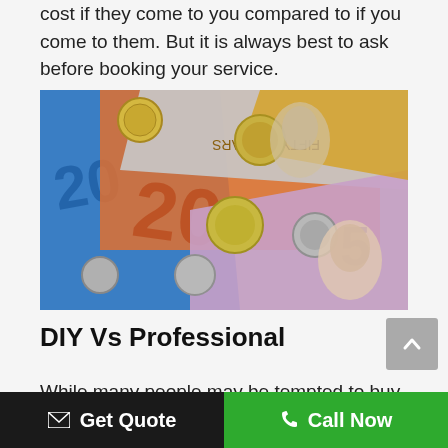cost if they come to you compared to if you come to them. But it is always best to ask before booking your service.
[Figure (photo): Australian dollar banknotes and coins spread out on a surface, including $5, $20, and $50 notes with various coins]
DIY Vs Professional
While many people may be tempted to buy a
Get Quote   Call Now